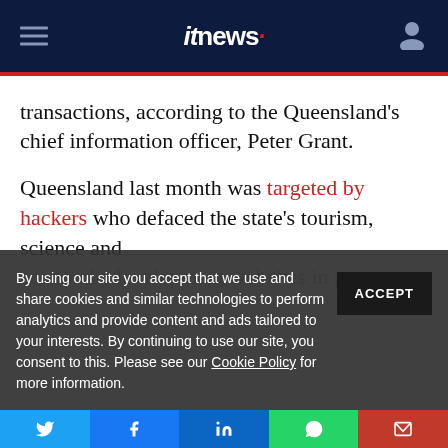itnews
transactions, according to the Queensland's chief information officer, Peter Grant.
Queensland last month was targeted by hackers who defaced the state's tourism, science and economic development websites in protest
By using our site you accept that we use and share cookies and similar technologies to perform analytics and provide content and ads tailored to your interests. By continuing to use our site, you consent to this. Please see our Cookie Policy for more information.